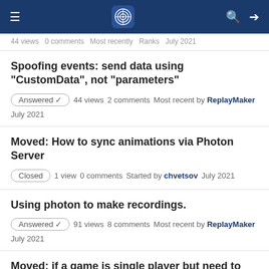Photon Engine Community Forum header
44 views  0 comments  Most recently  Ranks  July 2021
Spoofing events: send data using "CustomData", not "parameters"
Answered ✓  44 views  2 comments  Most recent by ReplayMaker  July 2021
Moved: How to sync animations via Photon Server
Closed  1 view  0 comments  Started by chvetsov  July 2021
Using photon to make recordings.
Answered ✓  91 views  8 comments  Most recent by ReplayMaker  July 2021
Moved: if a game is single player but need to be cross-platform, do you need to use photon?